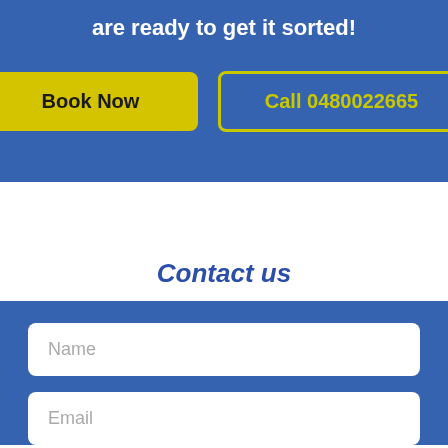are ready to get it sorted!
Book Now
Call 0480022665
Contact us
Name
Email